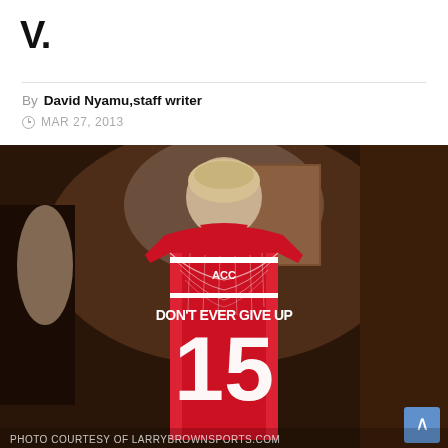V.
By David Nyamu, staff writer
MAR 27, 2013
[Figure (photo): Back view of a person wearing a red ACC basketball jersey numbered 15 with 'DON'T EVER GIVE UP' written on it. A net is draped over the player's shoulders.]
PHOTO COURTESY OF LARRYBROWNSPORTS.COM